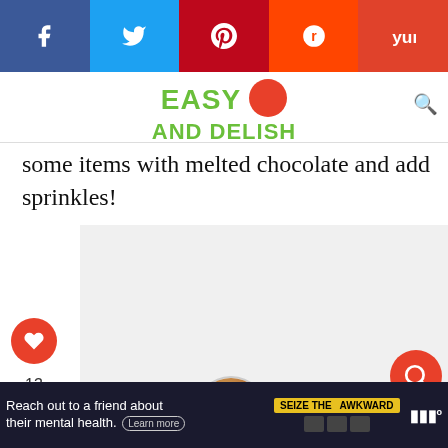[Figure (screenshot): Social media share buttons bar: Facebook (blue), Twitter (light blue), Pinterest (dark red), Reddit (orange-red), Yummly (red-orange)]
[Figure (logo): Easy and Delish website logo with green text and red circle]
some items with melted chocolate and add sprinkles!
[Figure (photo): Light gray image placeholder area]
[Figure (infographic): Like button (red heart, count 13) and share button sidebar on the left]
WHAT'S NEXT → The Easy Keto Desserts...
[Figure (photo): Circular thumbnail image for What's Next section]
[Figure (infographic): Red circular search button with magnifying glass icon]
[Figure (infographic): Ad banner: Reach out to a friend about their mental health. Learn more. SEIZE THE AWKWARD badge.]